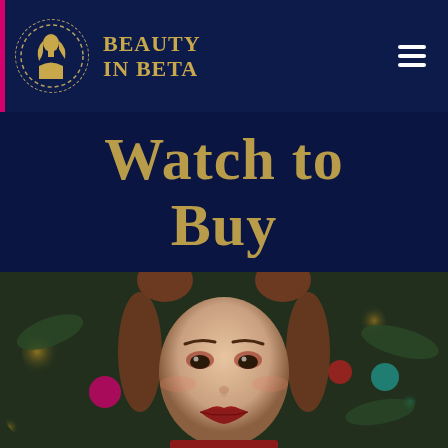Beauty In Beta
Watch to Buy
[Figure (photo): Close-up portrait of a young woman with two bun hairstyles, wearing festive red makeup and red lipstick, against a dark background with blurred Christmas ornaments and bokeh lights in gold, magenta, and green.]